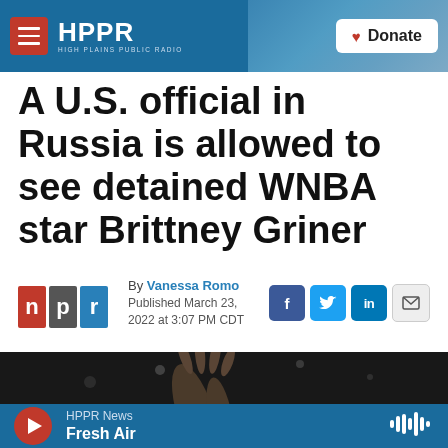HPPR HIGH PLAINS PUBLIC RADIO | Donate
A U.S. official in Russia is allowed to see detained WNBA star Brittney Griner
By Vanessa Romo
Published March 23, 2022 at 3:07 PM CDT
[Figure (photo): Dark photo showing an outstretched hand against a dark background, basketball context]
HPPR News Fresh Air